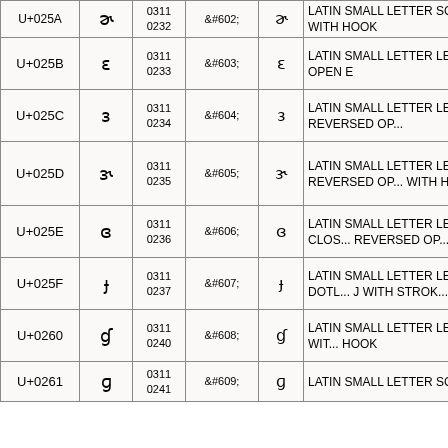| Code | Char | Oct Dec | HTML | Char | Description |
| --- | --- | --- | --- | --- | --- |
| U+025A | ɚ | 0311
0232 | &#602; | ɚ | LATIN SMALL LETTER SCHWA WITH HOOK |
| U+025B | ɛ | 0311
0233 | &#603; | ɛ | LATIN SMALL LETTER OPEN E |
| U+025C | ɜ | 0311
0234 | &#604; | ɜ | LATIN SMALL LETTER REVERSED OPEN E |
| U+025D | ɝ | 0311
0235 | &#605; | ɝ | LATIN SMALL LETTER REVERSED OPEN E WITH HOOK |
| U+025E | ɞ | 0311
0236 | &#606; | ɞ | LATIN SMALL LETTER CLOSED REVERSED OPEN E |
| U+025F | ɟ | 0311
0237 | &#607; | ɟ | LATIN SMALL LETTER DOTLESS J WITH STROKE |
| U+0260 | ɠ | 0311
0240 | &#608; | ɠ | LATIN SMALL LETTER G WITH HOOK |
| U+0261 | ɡ | 0311
0241 | &#609; | ɡ | LATIN SMALL LETTER SCRIPT G |